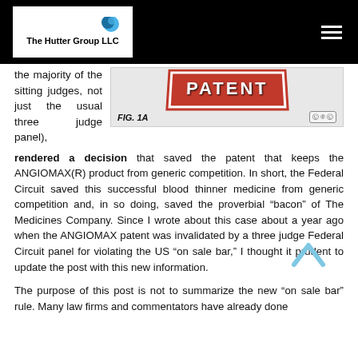The Hutter Group LLC
[Figure (photo): Red patent stamp sign image with text PATENT in white bold letters on red background, labelled FIG. 1A with a Creative Commons license badge]
the majority of the sitting judges, not just the usual three judge panel), rendered a decision that saved the patent that keeps the ANGIOMAX(R) product from generic competition. In short, the Federal Circuit saved this successful blood thinner medicine from generic competition and, in so doing, saved the proverbial “bacon” of The Medicines Company. Since I wrote about this case about a year ago when the ANGIOMAX patent was invalidated by a three judge Federal Circuit panel for violating the US “on sale bar,” I thought it prudent to update the post with this new information.
The purpose of this post is not to summarize the new “on sale bar” rule. Many law firms and commentators have already done